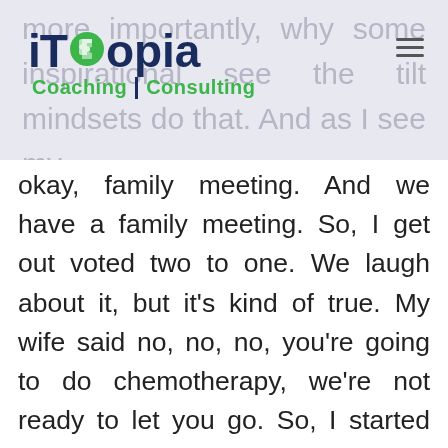iTopia Coaching Consulting
okay, family meeting. And we have a family meeting. So, I get out voted two to one. We laugh about it, but it's kind of true. My wife said no, no, no, you're going to do chemotherapy, we're not ready to let you go. So, I started doing chemotherapy. I remember in the police academy, our defensive tactics instructor used to have us bring a photograph of the people we love the most to class. And as we were learning how to defend ourselves, we were to look at that photo because he reasoned, you will fight harder for the people you love, than you will fight for yourself. So, at three o'clock in the morning, when you're fighting some drunk guy who wants to take your gun from you, he wanted you to remember that it's bigger than just you. There's a Mom and Dad or a Spouse or Kids or somebody out there